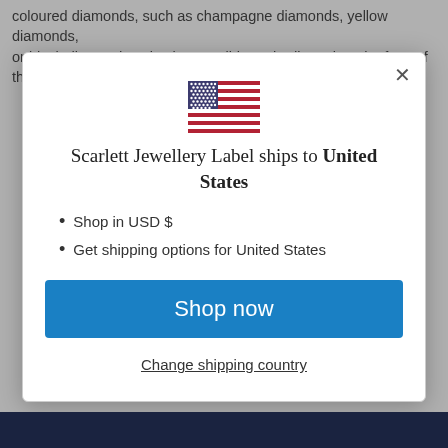coloured diamonds, such as champagne diamonds, yellow diamonds, or black diamonds. It is also possible to rhodium plate the face of the
[Figure (illustration): US flag emoji/icon]
Scarlett Jewellery Label ships to United States
Shop in USD $
Get shipping options for United States
Shop now
Change shipping country